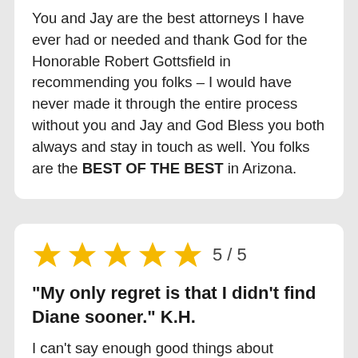You and Jay are the best attorneys I have ever had or needed and thank God for the Honorable Robert Gottsfield in recommending you folks – I would have never made it through the entire process without you and Jay and God Bless you both always and stay in touch as well. You folks are the BEST OF THE BEST in Arizona.
[Figure (other): Five gold stars rating display with text '5 / 5']
"My only regret is that I didn't find Diane sooner." K.H.
I can't say enough good things about